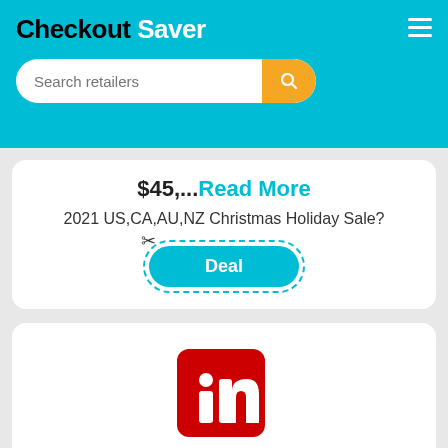Checkout Saver
$45,...Read More
2021 US,CA,AU,NZ Christmas Holiday Sale?
Deal
[Figure (logo): LinkedIn red cube logo with 'in' text in white]
€5,€10 discount
€5 off on order amount over €49, €10 off on order amount over €79